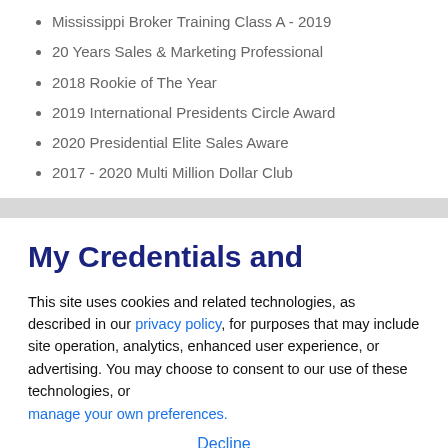Mississippi Broker Training Class A - 2019
20 Years Sales & Marketing Professional
2018 Rookie of The Year
2019 International Presidents Circle Award
2020 Presidential Elite Sales Aware
2017 - 2020 Multi Million Dollar Club
My Credentials and
This site uses cookies and related technologies, as described in our privacy policy, for purposes that may include site operation, analytics, enhanced user experience, or advertising. You may choose to consent to our use of these technologies, or manage your own preferences.
Decline
Accept